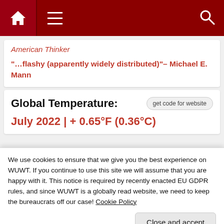Navigation bar with home, menu, and search icons
American Thinker
“…flashy (apparently widely distributed)”– Michael E. Mann
Global Temperature:
July 2022 | + 0.65°F (0.36°C)
We use cookies to ensure that we give you the best experience on WUWT. If you continue to use this site we will assume that you are happy with it. This notice is required by recently enacted EU GDPR rules, and since WUWT is a globally read website, we need to keep the bureaucrats off our case! Cookie Policy
Close and accept
[Figure (continuous-plot): Partial view of a temperature graph at the bottom of the page, showing colored lines over time with 2022 label visible]